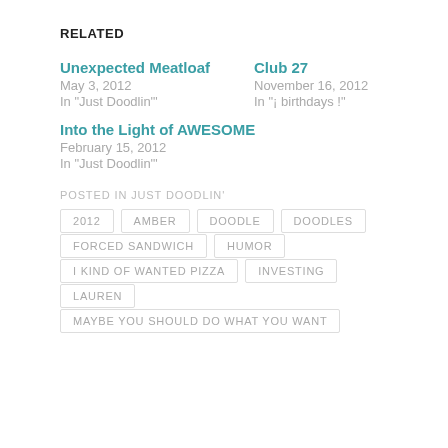RELATED
Unexpected Meatloaf
May 3, 2012
In "Just Doodlin'"
Club 27
November 16, 2012
In "¡ birthdays !"
Into the Light of AWESOME
February 15, 2012
In "Just Doodlin'"
POSTED IN JUST DOODLIN'
2012
AMBER
DOODLE
DOODLES
FORCED SANDWICH
HUMOR
I KIND OF WANTED PIZZA
INVESTING
LAUREN
MAYBE YOU SHOULD DO WHAT YOU WANT